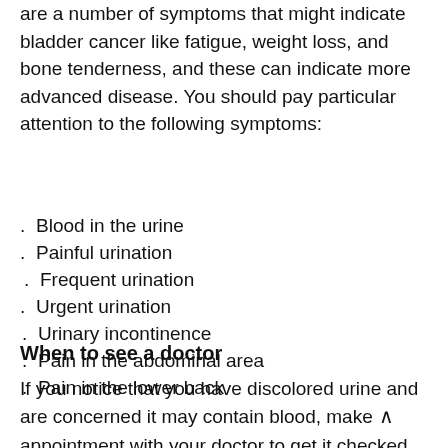are a number of symptoms that might indicate bladder cancer like fatigue, weight loss, and bone tenderness, and these can indicate more advanced disease. You should pay particular attention to the following symptoms:
Blood in the urine
Painful urination
Frequent urination
Urgent urination
Urinary incontinence
Pain in the abdominal area
Pain in the lower back
When to see a doctor
If you notice that you have discolored urine and are concerned it may contain blood, make appointment with your doctor to get it checked.